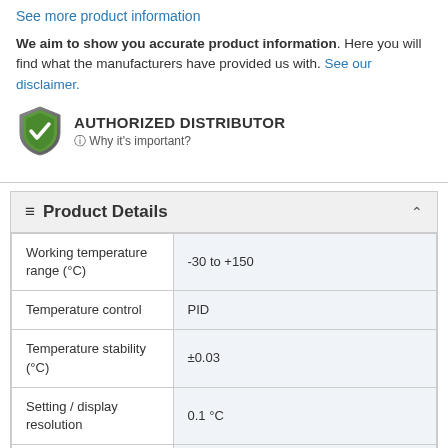See more product information
We aim to show you accurate product information. Here you will find what the manufacturers have provided us with. See our disclaimer.
[Figure (logo): Green and grey shield checkmark logo representing Authorized Distributor badge]
AUTHORIZED DISTRIBUTOR
⓪ Why it's important?
| Property | Value |
| --- | --- |
| Working temperature range (°C) | -30 to +150 |
| Temperature control | PID |
| Temperature stability (°C) | ±0.03 |
| Setting / display resolution | 0.1 °C |
| Temperature Display | LED |